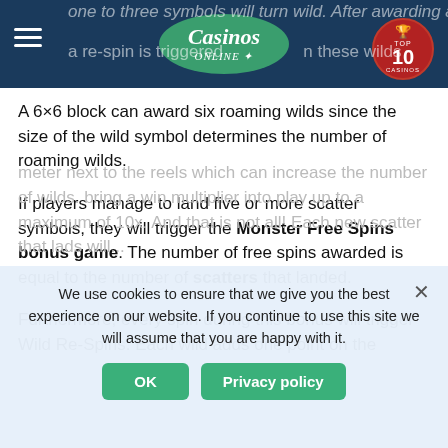Casinos Online — TOP 10 CASINOS header with navigation
one to three symbols will turn wild. After awarding a re-spin is triggered with these wilds
A 6×6 block can award six roaming wilds since the size of the wild symbol determines the number of roaming wilds.
If players manage to land five or more scatter symbols, they will trigger the Monster Free Spins bonus game. The number of free spins awarded is equal to the number of scatters that landed.
Furthermore, every spin during this bonus will trigger Wild Re-Spins. Each wild adds one point on the meter next to the reels which can increase the number of wilds. bring a win multiplier into play up to a maximum of 10x. And that is not all! Each new scatter that lads will...
We use cookies to ensure that we give you the best experience on our website. If you continue to use this site we will assume that you are happy with it.